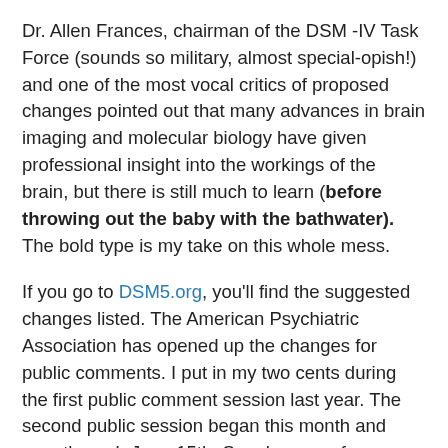Dr. Allen Frances, chairman of the DSM -IV Task Force (sounds so military, almost special-opish!) and one of the most vocal critics of proposed changes pointed out that many advances in brain imaging and molecular biology have given professional insight into the workings of the brain, but there is still much to learn (before throwing out the baby with the bathwater). The bold type is my take on this whole mess.
If you go to DSM5.org, you'll find the suggested changes listed. The American Psychiatric Association has opened up the changes for public comments. I put in my two cents during the first public comment session last year. The second public session began this month and runs through June 15th. Speak now or forever hold your peace!
I've been following the proposed changes in my blog...